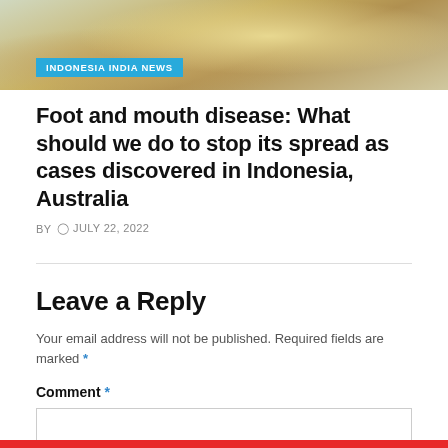[Figure (photo): Photo of cattle/goats, partially cropped, showing animals near hay or straw in an outdoor farm setting]
INDONESIA INDIA NEWS
Foot and mouth disease: What should we do to stop its spread as cases discovered in Indonesia, Australia
BY  ○ JULY 22, 2022
Leave a Reply
Your email address will not be published. Required fields are marked *
Comment *